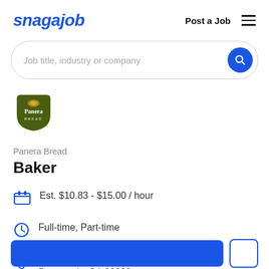snagajob   Post a Job
[Figure (screenshot): Search bar with placeholder text 'Job title, industry or company' and a blue search button]
[Figure (logo): Panera Bread logo - dark olive green shield shape with Panera Bread text]
Panera Bread
Baker
Est. $10.83 - $15.00 / hour
Full-time, Part-time
1625 Mt. Vernon Road, Dunwoody, GA 30338